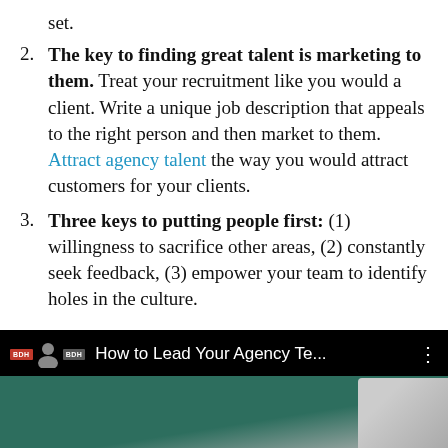set.
2. The key to finding great talent is marketing to them. Treat your recruitment like you would a client. Write a unique job description that appeals to the right person and then market to them. Attract agency talent the way you would attract customers for your clients.
3. Three keys to putting people first: (1) willingness to sacrifice other areas, (2) constantly seek feedback, (3) empower your team to identify holes in the culture.
[Figure (screenshot): Video thumbnail bar with black background showing title 'How to Lead Your Agency Te...' with channel icons and three-dot menu. Below is a partial thumbnail with teal/green and grey tones.]